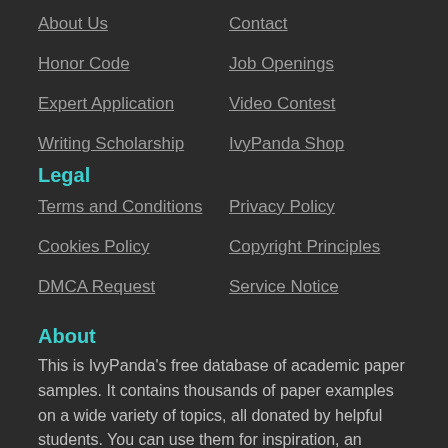About Us
Contact
Honor Code
Job Openings
Expert Application
Video Contest
Writing Scholarship
IvyPanda Shop
Legal
Terms and Conditions
Privacy Policy
Cookies Policy
Copyright Principles
DMCA Request
Service Notice
About
This is IvyPanda's free database of academic paper samples. It contains thousands of paper examples on a wide variety of topics, all donated by helpful students. You can use them for inspiration, an insight into a particular topic, a handy source of reference, or even just as a template of a certain type of paper. The database is updated daily, so anyone can easily find a relevant essay example.